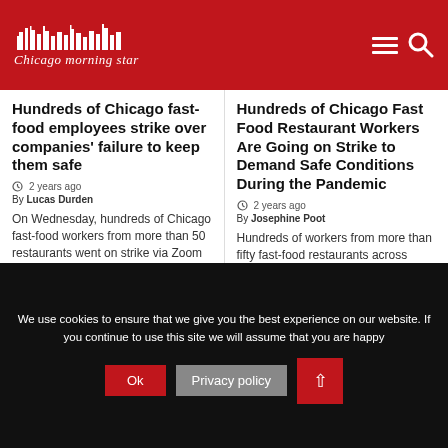Chicago morning star
Hundreds of Chicago fast-food employees strike over companies' failure to keep them safe
2 years ago
By Lucas Durden
On Wednesday, hundreds of Chicago fast-food workers from more than 50 restaurants went on strike via Zoom in order to …
Hundreds of Chicago Fast Food Restaurant Workers Are Going on Strike to Demand Safe Conditions During the Pandemic
2 years ago
By Josephine Poot
Hundreds of workers from more than fifty fast-food restaurants across Chicago are angry and going on strike on Wednesday to …
We use cookies to ensure that we give you the best experience on our website. If you continue to use this site we will assume that you are happy